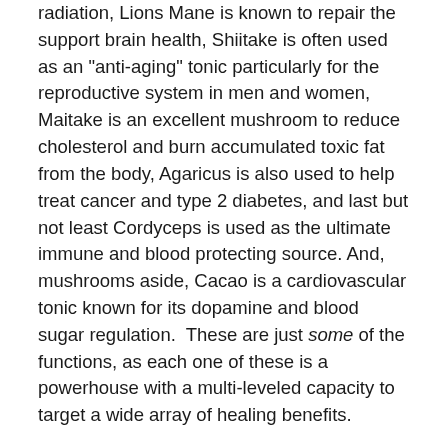radiation, Lions Mane is known to repair the support brain health, Shiitake is often used as an "anti-aging" tonic particularly for the reproductive system in men and women, Maitake is an excellent mushroom to reduce cholesterol and burn accumulated toxic fat from the body, Agaricus is also used to help treat cancer and type 2 diabetes, and last but not least Cordyceps is used as the ultimate immune and blood protecting source. And, mushrooms aside, Cacao is a cardiovascular tonic known for its dopamine and blood sugar regulation.  These are just some of the functions, as each one of these is a powerhouse with a multi-leveled capacity to target a wide array of healing benefits.
The incredible aspect about the unique class of "adaptogens" is that they assist in repairing TOTAL body healing. They naturally are immune tonics, yet they also assist the mind in